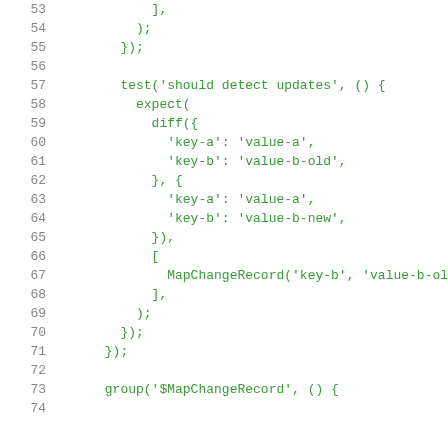Code snippet lines 53-74 showing JavaScript test code with diff and MapChangeRecord functions